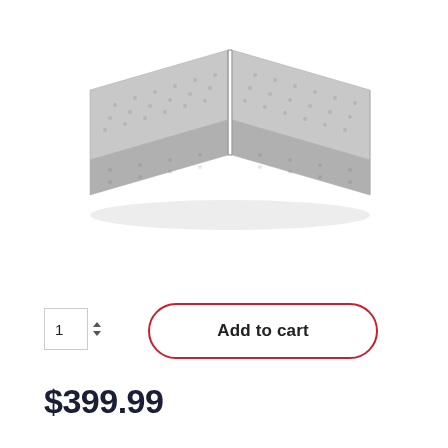[Figure (photo): Product photo of a split box spring foundation (two pieces side by side) with light grey fabric covering, shown in a 3/4 perspective view on white background.]
1  Add to cart
$399.99